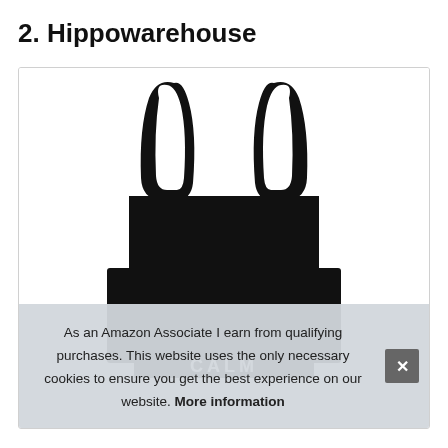2. Hippowarehouse
[Figure (photo): A black tote bag with handles shown against a white background inside a bordered image box. At the bottom of the image, a CALM text label is partially visible on a black strip. A cookie consent banner overlays the lower portion of the image reading: 'As an Amazon Associate I earn from qualifying purchases. This website uses the only necessary cookies to ensure you get the best experience on our website. More information' with an X close button.]
As an Amazon Associate I earn from qualifying purchases. This website uses the only necessary cookies to ensure you get the best experience on our website. More information